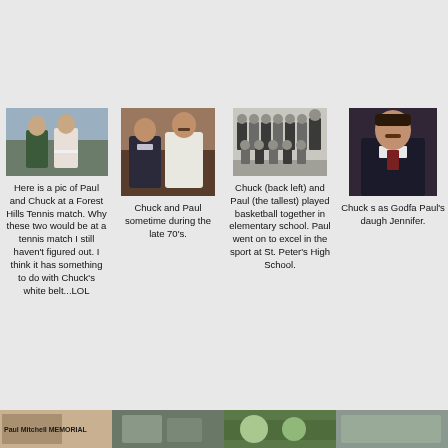[Figure (photo): Photo of Paul and Chuck at a Forest Hills Tennis match, two men standing outdoors]
Here is a pic of Paul and Chuck at a Forest Hills Tennis match. Why these two would be at a tennis match I still haven't figured out. I think it has something to do with Chuck's white belt...LOL
[Figure (photo): Photo of Chuck and Paul together, two men posing indoors sometime during the late 70s]
Chuck and Paul sometime during the late 70's.
[Figure (photo): Black and white group photo of a youth basketball team]
Chuck (back left) and Paul (the tallest) played basketball together in elementary school. Paul went on to excel in the sport at St. Peter's High School.
[Figure (photo): Photo of Chuck in formal attire, dark suit and tie]
Chuck served as Godfather to Paul's daughter Jennifer.
[Figure (photo): Paul Mitchell Memorial thumbnail image]
[Figure (photo): Thumbnail photo 2]
[Figure (photo): Thumbnail photo 3]
[Figure (photo): Thumbnail photo 4]